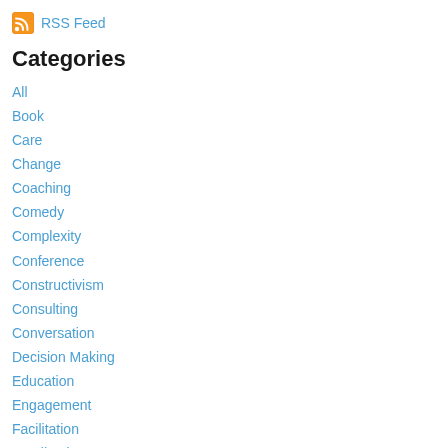RSS Feed
Categories
All
Book
Care
Change
Coaching
Comedy
Complexity
Conference
Constructivism
Consulting
Conversation
Decision Making
Education
Engagement
Facilitation
Feedback
Future